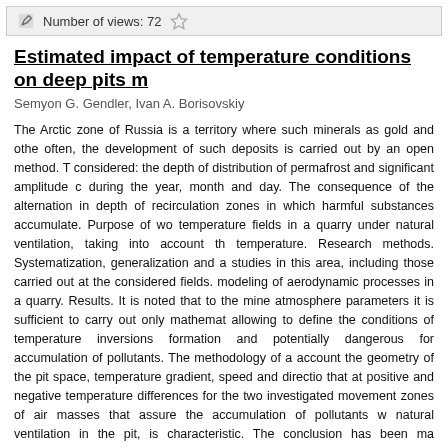Number of views: 72
Estimated impact of temperature conditions on deep pits m...
Semyon G. Gendler, Ivan A. Borisovskiy
The Arctic zone of Russia is a territory where such minerals as gold and othe... often, the development of such deposits is carried out by an open method. T... considered: the depth of distribution of permafrost and significant amplitude c... during the year, month and day. The consequence of the alternation in depth of ... recirculation zones in which harmful substances accumulate. Purpose of wo... temperature fields in a quarry under natural ventilation, taking into account th... temperature. Research methods. Systematization, generalization and a... studies in this area, including those carried out at the considered fields. ... modeling of aerodynamic processes in a quarry. Results. It is noted that to... the mine atmosphere parameters it is sufficient to carry out only mathemat... allowing to define the conditions of temperature inversions formation and ... potentially dangerous for accumulation of pollutants. The methodology of a... account the geometry of the pit space, temperature gradient, speed and directio... that at positive and negative temperature differences for the two investigated ... movement zones of air masses that assure the accumulation of pollutants w... natural ventilation in the pit, is characteristic. The conclusion has been ma... engineering measures during the period of inversion formation with negative te...